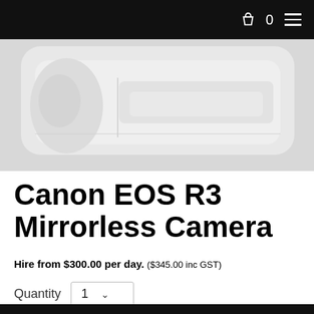0
[Figure (photo): Bottom/back portion of a Canon EOS R3 mirrorless camera shown on a light gray background]
Canon EOS R3 Mirrorless Camera
Hire from $300.00 per day. ($345.00 inc GST)
Quantity 1